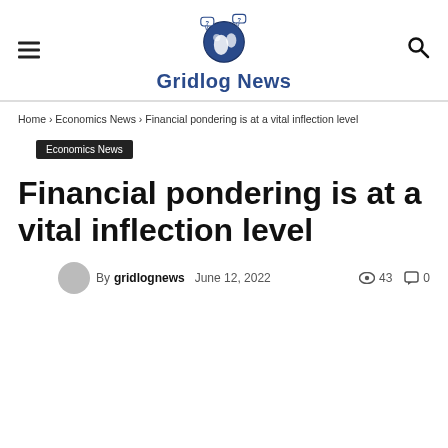Gridlog News
Home › Economics News › Financial pondering is at a vital inflection level
Economics News
Financial pondering is at a vital inflection level
By gridlognews  June 12, 2022  43  0